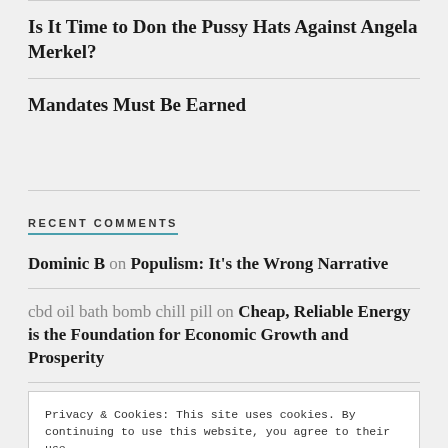Is It Time to Don the Pussy Hats Against Angela Merkel?
Mandates Must Be Earned
RECENT COMMENTS
Dominic B on Populism: It's the Wrong Narrative
cbd oil bath bomb chill pill on Cheap, Reliable Energy is the Foundation for Economic Growth and Prosperity
Privacy & Cookies: This site uses cookies. By continuing to use this website, you agree to their use.
To find out more, including how to control cookies, see here: Cookie Policy
Lessons from the School Strike 4 Climate